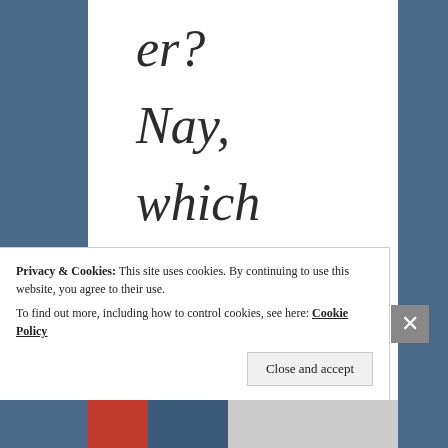er?
Nay,
which
is more
and
Privacy & Cookies: This site uses cookies. By continuing to use this website, you agree to their use. To find out more, including how to control cookies, see here: Cookie Policy
Close and accept